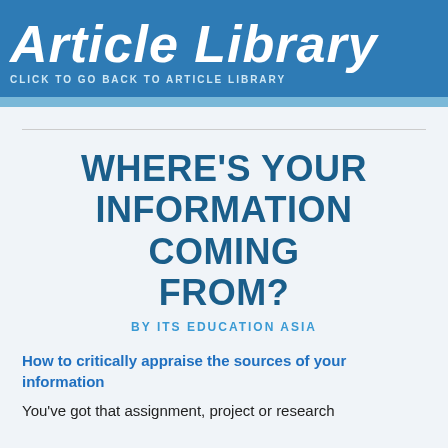Article Library
CLICK TO GO BACK TO ARTICLE LIBRARY
WHERE'S YOUR INFORMATION COMING FROM?
BY ITS EDUCATION ASIA
How to critically appraise the sources of your information
You've got that assignment, project or research